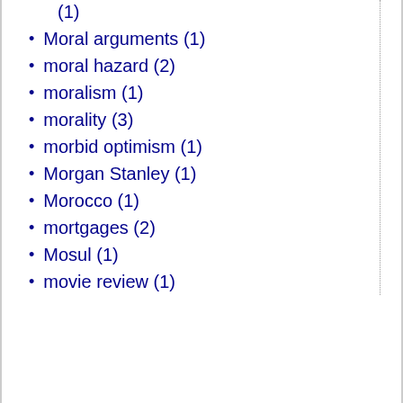(1)
Moral arguments (1)
moral hazard (2)
moralism (1)
morality (3)
morbid optimism (1)
Morgan Stanley (1)
Morocco (1)
mortgages (2)
Mosul (1)
movie review (1)